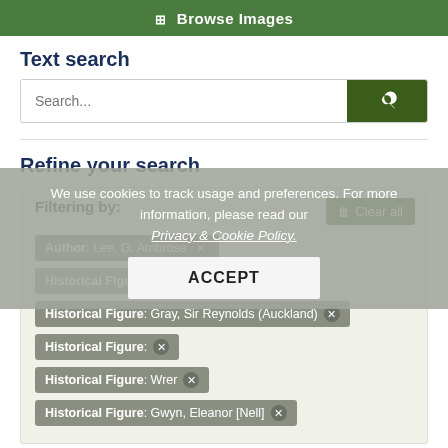Browse Images
Text search
Search...
Refine your search
Filtering by:
Author: Lee, G. Ambrose
Historical Figure: Camillus
Historical Figure: Gray, Sir Reynolds (Auckland)
Historical Figure: [partially visible]
Historical Figure: Wr...er
Historical Figure: Gwyn, Eleanor [Nell]
We use cookies to track usage and preferences. For more information, please read our Privacy & Cookie Policy.
ACCEPT